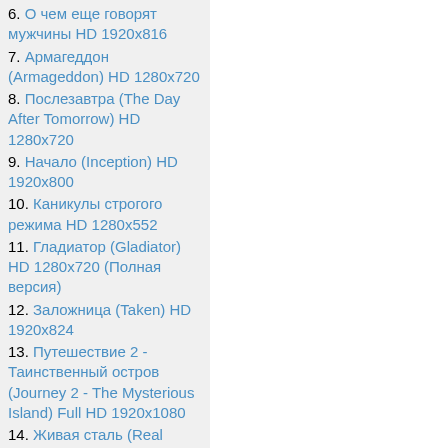6. О чем еще говорят мужчины HD 1920x816
7. Армагеддон (Armageddon) HD 1280x720
8. Послезавтра (The Day After Tomorrow) HD 1280x720
9. Начало (Inception) HD 1920x800
10. Каникулы строгого режима HD 1280x552
11. Гладиатор (Gladiator) HD 1280x720 (Полная версия)
12. Заложница (Taken) HD 1920x824
13. Путешествие 2 - Таинственный остров (Journey 2 - The Mysterious Island) Full HD 1920x1080
14. Живая сталь (Real Steel) HD 1920x816
15. Шерлок Холмс (Sherlock Holmes) HD 1280x720
16. Зеркала (Mirrors) HD 1920x800
17. Карты, деньги и два ствола (Lock, Stock and Two Smoking Barrels) HD 1280x696 (перевод Гоблина)
18. Затащи меня в Ад (Drag Me...